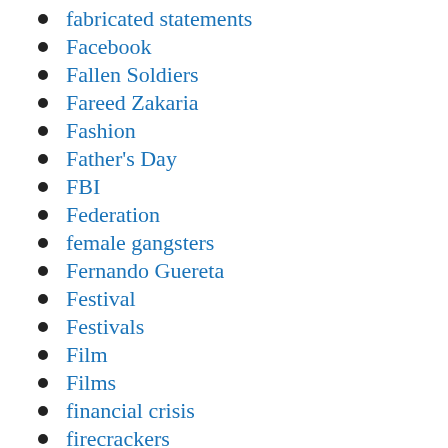fabricated statements
Facebook
Fallen Soldiers
Fareed Zakaria
Fashion
Father's Day
FBI
Federation
female gangsters
Fernando Guereta
Festival
Festivals
Film
Films
financial crisis
firecrackers